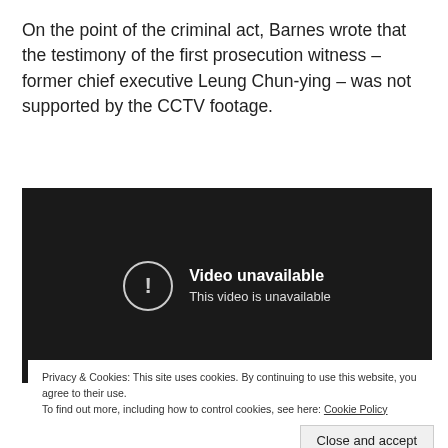On the point of the criminal act, Barnes wrote that the testimony of the first prosecution witness – former chief executive Leung Chun-ying – was not supported by the CCTV footage.
[Figure (screenshot): Embedded video player showing 'Video unavailable – This video is unavailable' message on a dark background]
Privacy & Cookies: This site uses cookies. By continuing to use this website, you agree to their use.
To find out more, including how to control cookies, see here: Cookie Policy
Close and accept